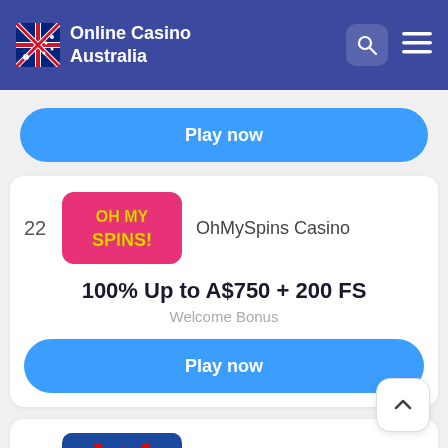Online Casino Australia
Play now
22  OhMySpins Casino
100% Up to A$750 + 200 FS
Welcome Bonus
Play now
23  Vulkan Vegas Casino